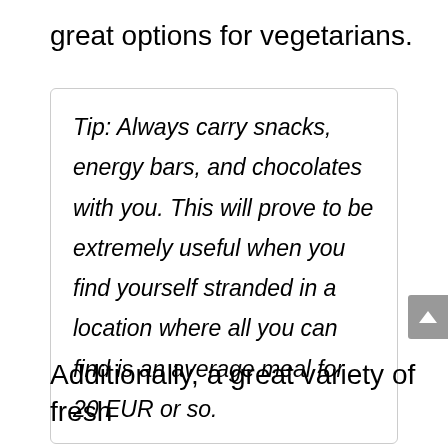great options for vegetarians.
Tip: Always carry snacks, energy bars, and chocolates with you. This will prove to be extremely useful when you find yourself stranded in a location where all you can find is an average meal for 20 EUR or so.
Additionally, a great variety of fresh